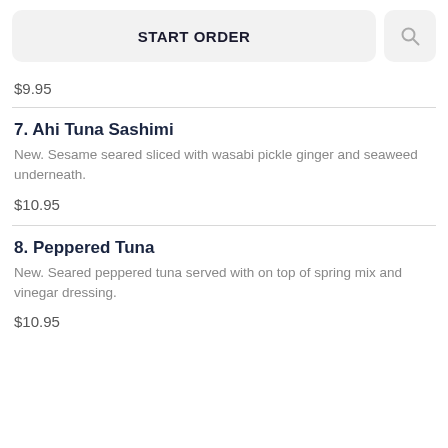START ORDER
$9.95
7. Ahi Tuna Sashimi
New. Sesame seared sliced with wasabi pickle ginger and seaweed underneath.
$10.95
8. Peppered Tuna
New. Seared peppered tuna served with on top of spring mix and vinegar dressing.
$10.95